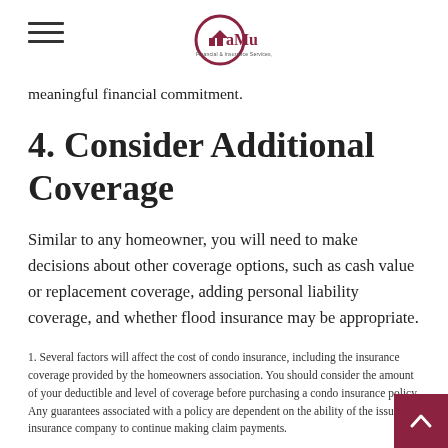CaMu Financial & Insurance Services, Inc.
meaningful financial commitment.
4. Consider Additional Coverage
Similar to any homeowner, you will need to make decisions about other coverage options, such as cash value or replacement coverage, adding personal liability coverage, and whether flood insurance may be appropriate.
1. Several factors will affect the cost of condo insurance, including the insurance coverage provided by the homeowners association. You should consider the amount of your deductible and level of coverage before purchasing a condo insurance policy. Any guarantees associated with a policy are dependent on the ability of the issuing insurance company to continue making claim payments.
The content is developed from sources believed to be providing accurate information. The information in this material is not intended as tax or legal advice. It may not be